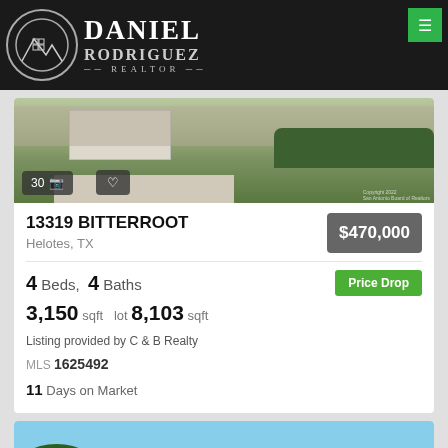Daniel Rodriguez Realtor
[Figure (photo): Exterior photo of house at 13319 Bitterroot with garage, driveway, and landscaping. Shows 30 photos button and favorite heart button. Copyright 2022 San Antonio Board of Realtors.]
13319 BITTERROOT
Helotes, TX
$470,000
4 Beds, 4 Baths
Price Drop
3,150 sqft  lot 8,103 sqft
Listing provided by C & B Realty
MLS 1625492
11 Days on Market
[Figure (photo): Exterior photo of a second property listing, showing a southwestern-style home with stucco facade, flat roof, and trees in the foreground against a blue sky.]